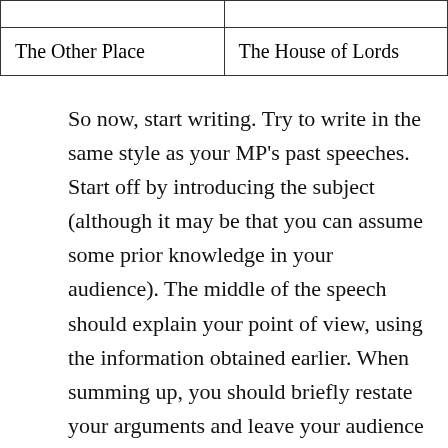|  |  |
| The Other Place | The House of Lords |
So now, start writing. Try to write in the same style as your MP's past speeches. Start off by introducing the subject (although it may be that you can assume some prior knowledge in your audience). The middle of the speech should explain your point of view, using the information obtained earlier. When summing up, you should briefly restate your arguments and leave your audience with one lasting image in their minds. Remember that the conclusion is the one part of the speech that everybody will carry away with them: make it memorable, and make sure that the audience understand